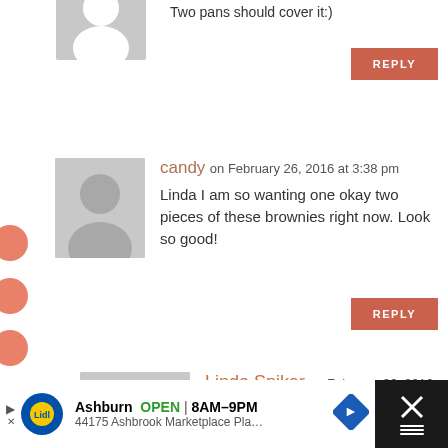Two pans should cover it:)
[Figure (other): Gray avatar placeholder silhouette (partial, top of page)]
REPLY
[Figure (other): Gray avatar placeholder silhouette for candy]
candy on February 26, 2016 at 3:38 pm
Linda I am so wanting one okay two pieces of these brownies right now. Look so good!
REPLY
[Figure (other): Gray avatar placeholder silhouette for Linda Spiker]
Linda Spiker on February 26, 2016 at 3:39 pm
It's a little early but who am I to stop you!
REPLY
Ashburn OPEN | 8AM–9PM 44175 Ashbrook Marketplace Pla…